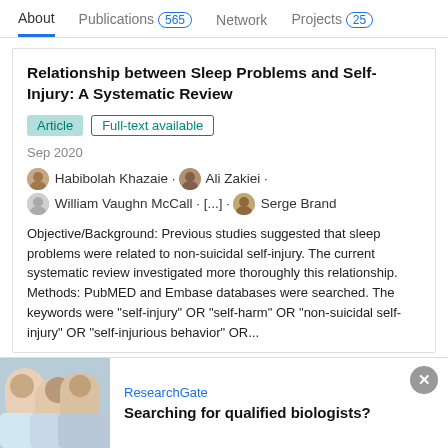About  Publications 565  Network  Projects 25
Relationship between Sleep Problems and Self-Injury: A Systematic Review
Article  Full-text available
Sep 2020
Habibolah Khazaie · Ali Zakiei · William Vaughn McCall · [...] · Serge Brand
Objective/Background: Previous studies suggested that sleep problems were related to non-suicidal self-injury. The current systematic review investigated more thoroughly this relationship. Methods: PubMED and Embase databases were searched. The keywords were “self-injury” OR “self-harm” OR “non-suicidal self-injury” OR “self-injurious behavior” OR...
Advertisement
ResearchGate
Searching for qualified biologists?